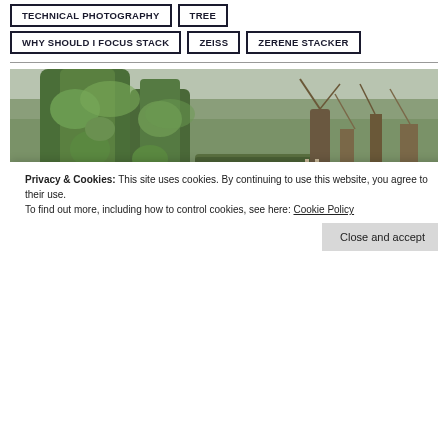TECHNICAL PHOTOGRAPHY
TREE
WHY SHOULD I FOCUS STACK
ZEISS
ZERENE STACKER
[Figure (photo): A large ancient moss-covered tree with massive gnarled roots and trunk in a woodland setting, with bare trees in the background.]
Privacy & Cookies: This site uses cookies. By continuing to use this website, you agree to their use.
To find out more, including how to control cookies, see here: Cookie Policy
Close and accept